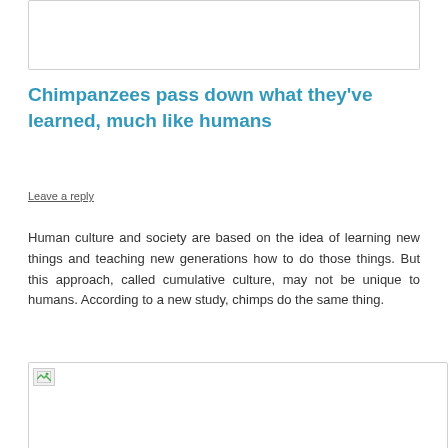[Figure (other): Top white card area with border, partially visible at top of page]
Chimpanzees pass down what they've learned, much like humans
Leave a reply
Human culture and society are based on the idea of learning new things and teaching new generations how to do those things. But this approach, called cumulative culture, may not be unique to humans. According to a new study, chimps do the same thing.
[Figure (photo): Bottom card area with broken image icon, partially visible at bottom of page]